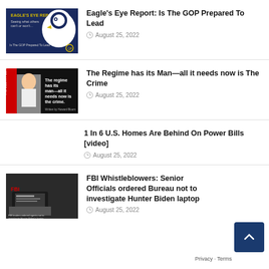Eagle's Eye Report: Is The GOP Prepared To Lead — August 25, 2022
The Regime has its Man—all it needs now is The Crime — August 25, 2022
1 In 6 U.S. Homes Are Behind On Power Bills [video] — August 25, 2022
FBI Whistleblowers: Senior Officials ordered Bureau not to investigate Hunter Biden laptop — August 25, 2022